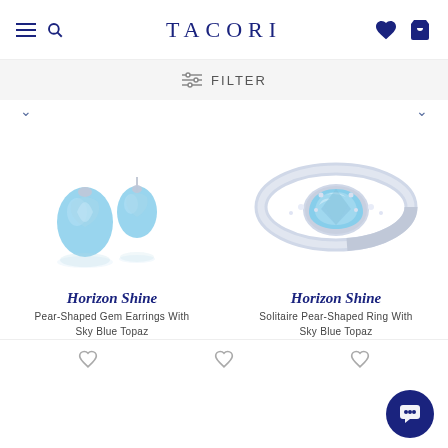TACORI
FILTER
[Figure (photo): Two pear-shaped sky blue topaz gem earrings in silver setting with reflection below]
[Figure (photo): Silver ring with pear-shaped sky blue topaz gemstone center, solitaire style]
Horizon Shine
Pear-Shaped Gem Earrings With Sky Blue Topaz
Horizon Shine
Solitaire Pear-Shaped Ring With Sky Blue Topaz